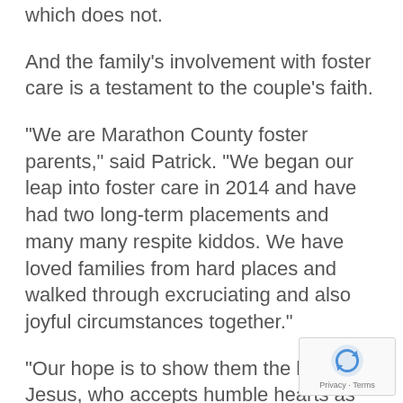which does not.
And the family's involvement with foster care is a testament to the couple's faith.
"We are Marathon County foster parents," said Patrick. "We began our leap into foster care in 2014 and have had two long-term placements and many many respite kiddos. We have loved families from hard places and walked through excruciating and also joyful circumstances together."
"Our hope is to show them the love of Jesus, who accepts humble hearts as they are," said Sandy. "It has been the hardest, most rewarding experience of our lives!"